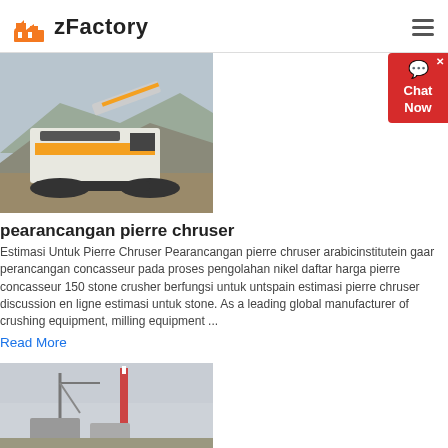zFactory
[Figure (photo): Mobile crushing equipment (stone crusher) in an open quarry/mine site with hills in background]
pearancangan pierre chruser
Estimasi Untuk Pierre Chruser Pearancangan pierre chruser arabicinstitutein gaar perancangan concasseur pada proses pengolahan nikel daftar harga pierre concasseur 150 stone crusher berfungsi untuk untspain estimasi pierre chruser discussion en ligne estimasi untuk stone. As a leading global manufacturer of crushing equipment, milling equipment ...
Read More
[Figure (photo): Industrial facility/construction site with crane and structures in foggy/hazy conditions]